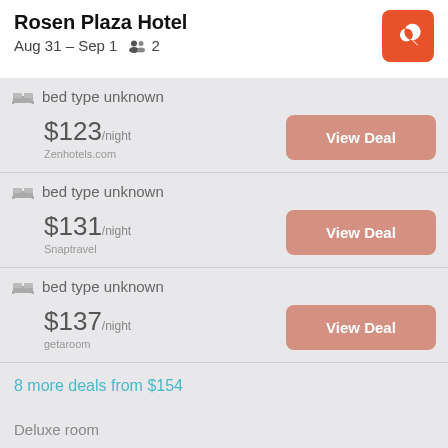Rosen Plaza Hotel
Aug 31 – Sep 1   2
bed type unknown — $123/night — Zenhotels.com — View Deal
bed type unknown — $131/night — Snaptravel — View Deal
bed type unknown — $137/night — getaroom — View Deal
8 more deals from $154
Deluxe room